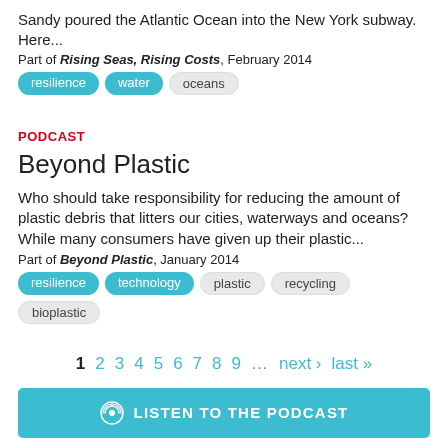Sandy poured the Atlantic Ocean into the New York subway. Here...
Part of Rising Seas, Rising Costs, February 2014
resilience
water
oceans
PODCAST
Beyond Plastic
Who should take responsibility for reducing the amount of plastic debris that litters our cities, waterways and oceans? While many consumers have given up their plastic...
Part of Beyond Plastic, January 2014
resilience
technology
plastic
recycling
bioplastic
1 2 3 4 5 6 7 8 9 ... next › last »
LISTEN TO THE PODCAST